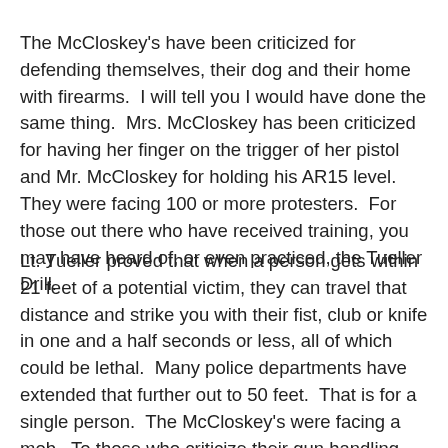The McCloskey's have been criticized for defending themselves, their dog and their home with firearms.  I will tell you I would have done the same thing.  Mrs. McCloskey has been criticized for having her finger on the trigger of her pistol and Mr. McCloskey for holding his AR15 level.  They were facing 100 or more protesters.  For those out there who have received training, you may have heard of, or even practiced, the Tueller Drill.
Lt. Tueller proved that when a person gets within 21 feet of a potential victim, they can travel that distance and strike you with their fist, club or knife in one and a half seconds or less, all of which could be lethal.  Many police departments have extended that further out to 50 feet.  That is for a single person.  The McCloskey's were facing a mob.  To those who criticize their gun handling, you need to think about the circumstances these people were facing.  Some of the mob was 30 feet away.  I would like to tell those who criticize them – easy for you to say, you were not